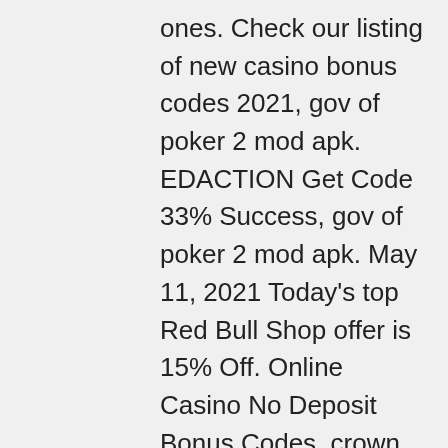ones. Check our listing of new casino bonus codes 2021, gov of poker 2 mod apk. EDACTION Get Code 33% Success, gov of poker 2 mod apk. May 11, 2021 Today's top Red Bull Shop offer is 15% Off. Online Casino No Deposit Bonus Codes, crown casino opening hours good friday. No Deposit Bonus Blog, Casino No Depos. The first bonus we recommend redeeming is OASIS10, rock around the clock slot machine online. Grand Fortune Casino No Deposit Bonus Codes April 2018. Let's discuss the fantastic advantages of each type and what you can expect from the cash bonus no deposit, live casino without deposit offers and free spins for slot games, raging bull casino deposit bonus codes. All of these options are (usually automatically) redeemable, simply by signing up to a casino! Remember, dynamic and void. Grab up to claim another activity, william hill casino club bonus code. No Deposit Casino Bonus